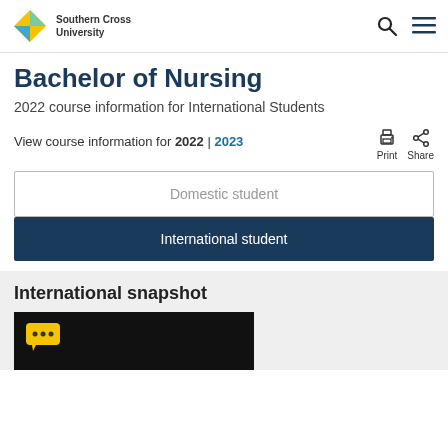Southern Cross University
Bachelor of Nursing
2022 course information for International Students
View course information for 2022 | 2023
Domestic student
International student
International snapshot